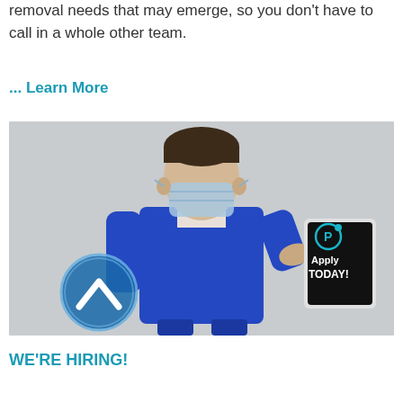removal needs that may emerge, so you don't have to call in a whole other team.
... Learn More
[Figure (photo): A man wearing a blue work uniform and a surgical mask, holding a tablet that displays 'Apply TODAY!' with a logo. A circular blue arrow icon is overlaid on the lower-left of the image, indicating a scroll-up or back-to-top button.]
WE'RE HIRING!